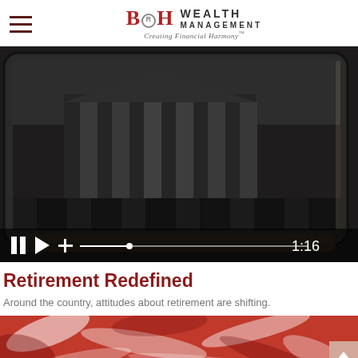[Figure (logo): B&H Wealth Management logo with tagline 'Creating Financial Harmony']
[Figure (screenshot): Video player screenshot showing a dark black-and-white architectural scene on a tablet, with video controls showing pause, play, plus icons, a scrubber bar, and timestamp 1:16]
Retirement Redefined
Around the country, attitudes about retirement are shifting.
[Figure (photo): Partial bottom photo showing red and white objects, possibly candy canes or a festive dish close-up]